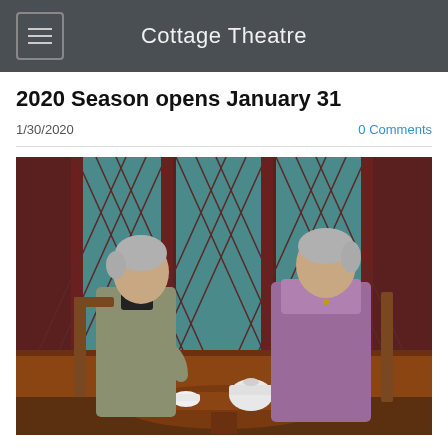Cottage Theatre
2020 Season opens January 31
1/30/2020
0 Comments
[Figure (photo): Two older women with gray hair seated at a round wooden table with a tea set, in period costumes, on a theatrical stage set with a red and teal latticed backdrop. The woman on the left wears a gray/green dress and holds a teacup; the woman on the right wears a lavender/purple Victorian-style dress.]